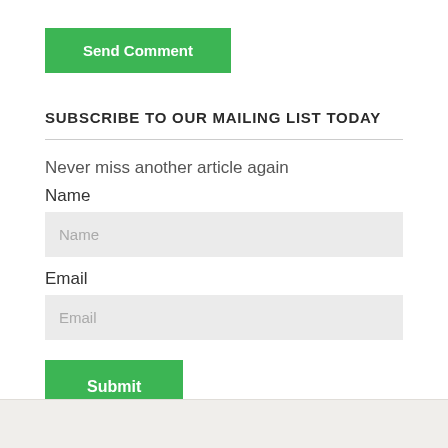[Figure (other): Green 'Send Comment' button]
SUBSCRIBE TO OUR MAILING LIST TODAY
Never miss another article again
Name
Email
[Figure (other): Green 'Submit' button]